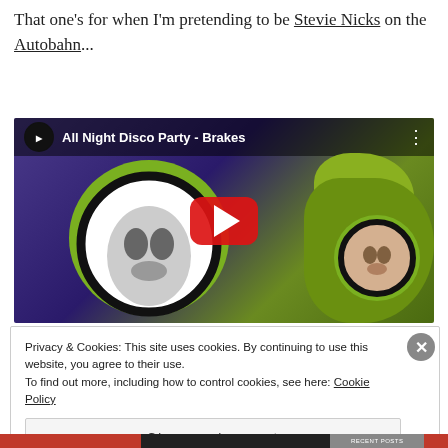That one's for when I'm pretending to be Stevie Nicks on the Autobahn...
[Figure (screenshot): YouTube video thumbnail for 'All Night Disco Party - Brakes' showing stylized pop-art faces on green and purple background with red YouTube play button]
Privacy & Cookies: This site uses cookies. By continuing to use this website, you agree to their use. To find out more, including how to control cookies, see here: Cookie Policy
Close and accept